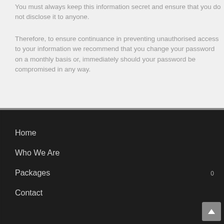You must always keep this information secret and ensure that you do not disclose it to anyone.
Therefore, to ensure continuance in preventing unauthorised access to your information we recommend that you change your password on a monthly basis or, immediately should your password be compromised in any way.
Home
Who We Are
Packages
Contact